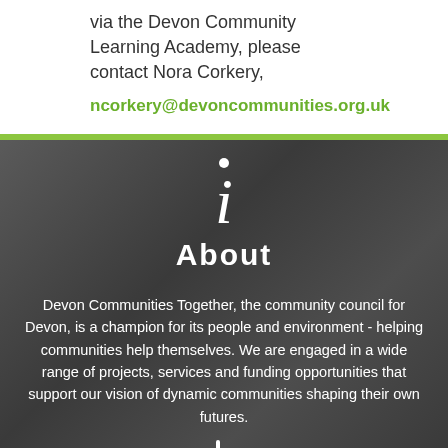via the Devon Community Learning Academy, please contact Nora Corkery,
ncorkery@devoncommunities.org.uk
[Figure (infographic): Information icon (italic letter i with dot) above the word About with green underline, on a dark grey background]
About
Devon Communities Together, the community council for Devon, is a champion for its people and environment - helping communities help themselves. We are engaged in a wide range of projects, services and funding opportunities that support our vision of dynamic communities shaping their own futures.
[Figure (illustration): Partial icon at bottom of dark section, appears to be a person/figure icon in white]